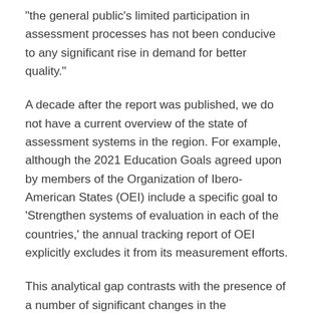“the general public’s limited participation in assessment processes has not been conducive to any significant rise in demand for better quality.”
A decade after the report was published, we do not have a current overview of the state of assessment systems in the region. For example, although the 2021 Education Goals agreed upon by members of the Organization of Ibero-American States (OEI) include a specific goal to ‘Strengthen systems of evaluation in each of the countries,’ the annual tracking report of OEI explicitly excludes it from its measurement efforts.
This analytical gap contrasts with the presence of a number of significant changes in the institutional structure of the entities in charge of assessment in countries such as Ecuador (where the INEVAL was created in 2012) or Mexico (where the INEE began